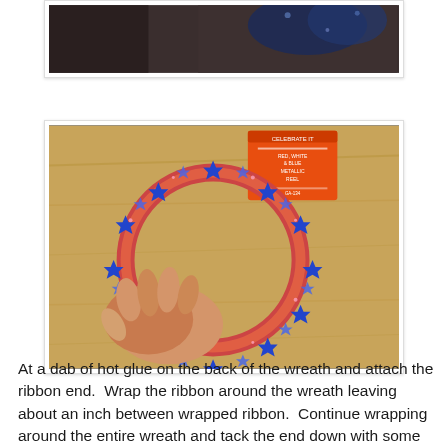[Figure (photo): Partial view of a decorative item, top of page cropped]
[Figure (photo): Hand holding a circular wreath made of metallic blue star tinsel garland on a wooden table surface, with an orange product tag visible]
At a dab of hot glue on the back of the wreath and attach the ribbon end.  Wrap the ribbon around the wreath leaving about an inch between wrapped ribbon.  Continue wrapping around the entire wreath and tack the end down with some hot glue on the back to secure. (See photo)